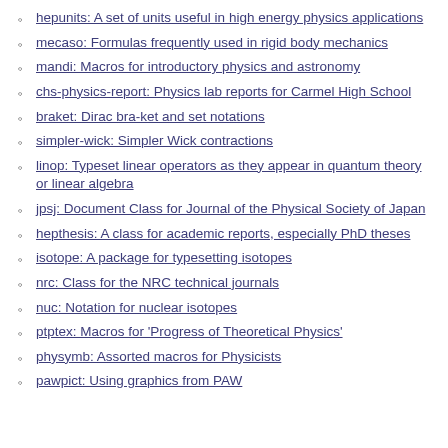hepunits: A set of units useful in high energy physics applications
mecaso: Formulas frequently used in rigid body mechanics
mandi: Macros for introductory physics and astronomy
chs-physics-report: Physics lab reports for Carmel High School
braket: Dirac bra-ket and set notations
simpler-wick: Simpler Wick contractions
linop: Typeset linear operators as they appear in quantum theory or linear algebra
jpsj: Document Class for Journal of the Physical Society of Japan
hepthesis: A class for academic reports, especially PhD theses
isotope: A package for typesetting isotopes
nrc: Class for the NRC technical journals
nuc: Notation for nuclear isotopes
ptptex: Macros for 'Progress of Theoretical Physics'
physymb: Assorted macros for Physicists
pawpict: Using graphics from PAW